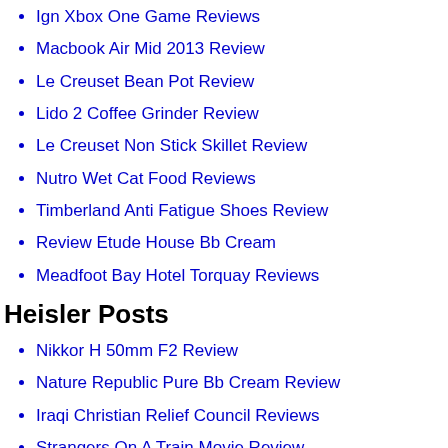Ign Xbox One Game Reviews
Macbook Air Mid 2013 Review
Le Creuset Bean Pot Review
Lido 2 Coffee Grinder Review
Le Creuset Non Stick Skillet Review
Nutro Wet Cat Food Reviews
Timberland Anti Fatigue Shoes Review
Review Etude House Bb Cream
Meadfoot Bay Hotel Torquay Reviews
Heisler Posts
Nikkor H 50mm F2 Review
Nature Republic Pure Bb Cream Review
Iraqi Christian Relief Council Reviews
Strangers On A Train Movie Review
Miracle Gro Grass Seed Review